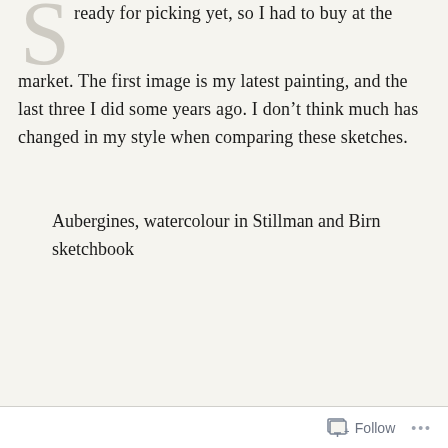ready for picking yet, so I had to buy at the market. The first image is my latest painting, and the last three I did some years ago. I don't think much has changed in my style when comparing these sketches.
Aubergines, watercolour in Stillman and Birn sketchbook
Follow ···